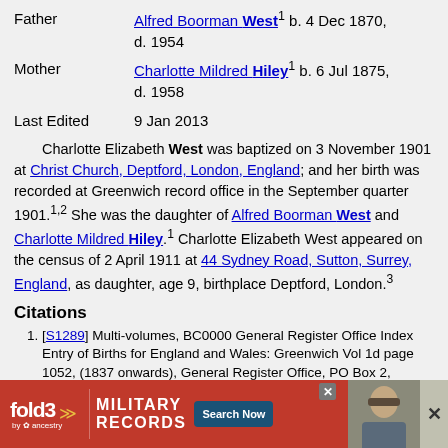Father: Alfred Boorman West¹ b. 4 Dec 1870, d. 1954
Mother: Charlotte Mildred Hiley¹ b. 6 Jul 1875, d. 1958
Last Edited: 9 Jan 2013
Charlotte Elizabeth West was baptized on 3 November 1901 at Christ Church, Deptford, London, England; and her birth was recorded at Greenwich record office in the September quarter 1901.¹·² She was the daughter of Alfred Boorman West and Charlotte Mildred Hiley.¹ Charlotte Elizabeth West appeared on the census of 2 April 1911 at 44 Sydney Road, Sutton, Surrey, England, as daughter, age 9, birthplace Deptford, London.³
Citations
[S1289] Multi-volumes, BC0000 General Register Office Index Entry of Births for England and Wales: Greenwich Vol 1d page 1052, (1837 onwards), General Register Office, PO Box 2, Southport, Merseyside, England.
[S...] ... West... land, Bir... West
[Figure (other): Advertisement overlay for fold3 Military Records by Ancestry with Search Now button and soldier photo]